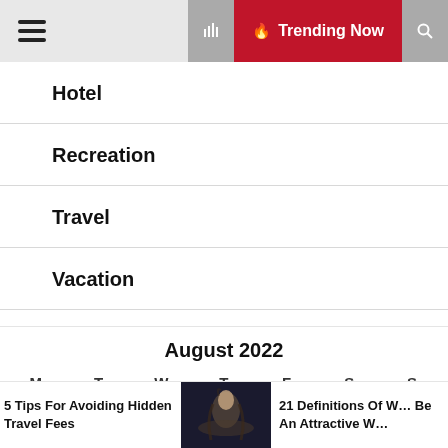Trending Now
Hotel
Recreation
Travel
Vacation
| M | T | W | T | F | S | S |
| --- | --- | --- | --- | --- | --- | --- |
| 1 | 2 | 3 | 4 | 5 | 6 | 7 |
| 8 | 9 | 10 | 11 | 12 | 13 | 14 |
5 Tips For Avoiding Hidden Travel Fees
21 Definitions Of What It Means To Be An Attractive Woman